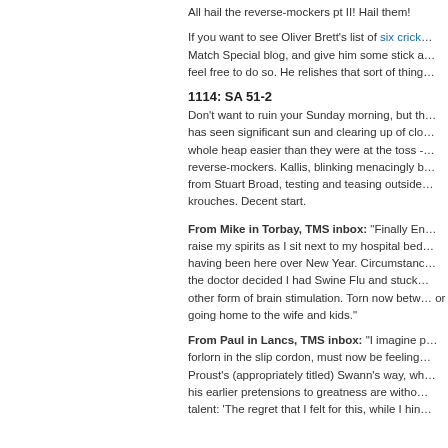All hail the reverse-mockers pt II! Hail them!
If you want to see Oliver Brett's list of six crick… Match Special blog, and give him some stick a… feel free to do so. He relishes that sort of thing…
1114: SA 51-2
Don't want to ruin your Sunday morning, but th… has seen significant sun and clearing up of clo… whole heap easier than they were at the toss -… reverse-mockers. Kallis, blinking menacingly b… from Stuart Broad, testing and teasing outside… krouches. Decent start.
From Mike in Torbay, TMS inbox: "Finally En… raise my spirits as I sit next to my hospital bed… having been here over New Year. Circumstanc… the doctor decided I had Swine Flu and stuck… other form of brain stimulation. Torn now betw… or going home to the wife and kids."
From Paul in Lancs, TMS inbox: "I imagine p… forlorn in the slip cordon, must now be feeling… Proust's (appropriately titled) Swann's way, wh… his earlier pretensions to greatness are withou… talent: 'The regret that I felt for this, while I hin…